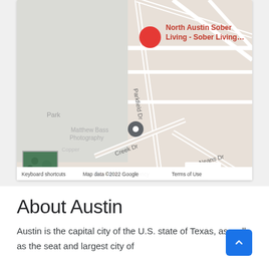[Figure (map): Google Maps screenshot showing North Austin Sober Living location pin in red, a secondary gray location pin, street labels including Parkfield Dr, Neans Dr, Copper Creek Dr, zoom in/out controls, a satellite thumbnail in the lower left, and Google copyright footer reading 'Keyboard shortcuts  Map data ©2022 Google  Terms of Use']
About Austin
Austin is the capital city of the U.S. state of Texas, as well as the seat and largest city of